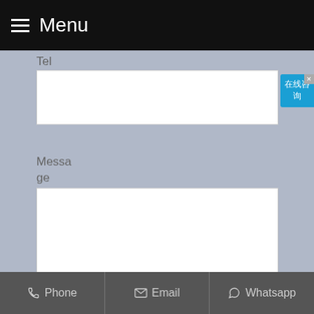Menu
Tel
[Figure (screenshot): Chinese online consultation sidebar widget with text 在线咨询]
Message
SEND MESSAGE
Phone   Email   Whatsapp